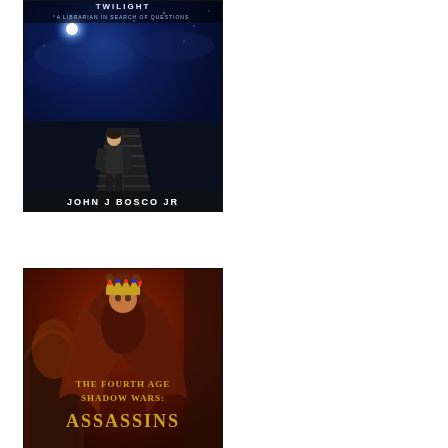[Figure (illustration): Book cover of a sci-fi/mystery novel showing a man in a dark suit walking away on a wooden dock/pier into a starry blue night sky. Title at top reads 'A Librarian in Search of Questions'. Author name at bottom: 'JOHN J BOSCO JR'.]
[Figure (illustration): Book cover of a fantasy novel 'The Fourth Age Shadow Wars: Assassins' showing a cloaked figure (female warrior) with a crown on a dark reddish-brown background with stone arch architecture.]